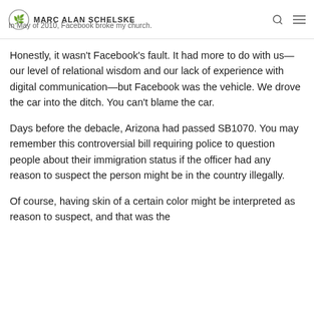MARC ALAN SCHELSKE — In May of 2010, Facebook broke my church.
Honestly, it wasn't Facebook's fault. It had more to do with us—our level of relational wisdom and our lack of experience with digital communication—but Facebook was the vehicle. We drove the car into the ditch. You can't blame the car.
Days before the debacle, Arizona had passed SB1070. You may remember this controversial bill requiring police to question people about their immigration status if the officer had any reason to suspect the person might be in the country illegally.
Of course, having skin of a certain color might be interpreted as reason to suspect, and that was the